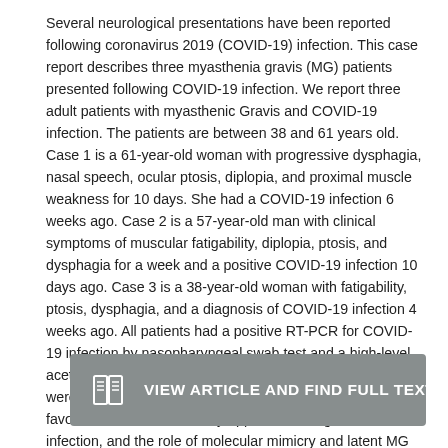Several neurological presentations have been reported following coronavirus 2019 (COVID-19) infection. This case report describes three myasthenia gravis (MG) patients presented following COVID-19 infection. We report three adult patients with myasthenic Gravis and COVID-19 infection. The patients are between 38 and 61 years old. Case 1 is a 61-year-old woman with progressive dysphagia, nasal speech, ocular ptosis, diplopia, and proximal muscle weakness for 10 days. She had a COVID-19 infection 6 weeks ago. Case 2 is a 57-year-old man with clinical symptoms of muscular fatigability, diplopia, ptosis, and dysphagia for a week and a positive COVID-19 infection 10 days ago. Case 3 is a 38-year-old woman with fatigability, ptosis, dysphagia, and a diagnosis of COVID-19 infection 4 weeks ago. All patients had a positive RT-PCR for COVID-19 infection by nasopharyngeal swab test and a high-level acetylcholine receptor antibody in the serum. All patients were treated with pyridostigmine and prednisolone with a favorable outcome. MG may appear following COVID-19 infection, and the role of molecular mimicry and latent MG activation should be considered the cause of the disease onset.
[Figure (other): A dark grey button with a book/article icon on the left and the text 'VIEW ARTICLE AND FIND FULL TEXT PDF' in white bold uppercase letters.]